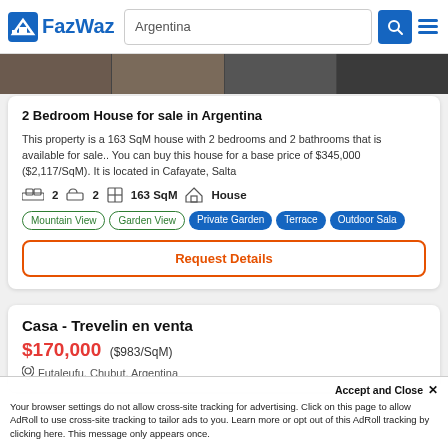FazWaz — Argentina search header
[Figure (photo): Property photo strip showing interior images]
2 Bedroom House for sale in Argentina
This property is a 163 SqM house with 2 bedrooms and 2 bathrooms that is available for sale.. You can buy this house for a base price of $345,000 ($2,117/SqM). It is located in Cafayate, Salta
2 bedrooms  2 bathrooms  163 SqM  House
Mountain View  Garden View  Private Garden  Terrace  Outdoor Sala
Request Details
Casa - Trevelin en venta
$170,000 ($983/SqM)
Futaleufu, Chubut, Argentina
Accept and Close ✕
Your browser settings do not allow cross-site tracking for advertising. Click on this page to allow AdRoll to use cross-site tracking to tailor ads to you. Learn more or opt out of this AdRoll tracking by clicking here. This message only appears once.